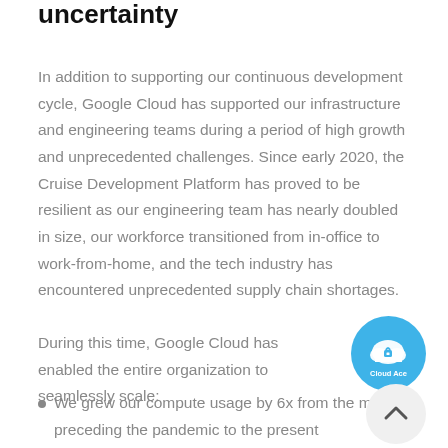uncertainty
In addition to supporting our continuous development cycle, Google Cloud has supported our infrastructure and engineering teams during a period of high growth and unprecedented challenges. Since early 2020, the Cruise Development Platform has proved to be resilient as our engineering team has nearly doubled in size, our workforce transitioned from in-office to work-from-home, and the tech industry has encountered unprecedented supply chain shortages.
During this time, Google Cloud has enabled the entire organization to seamlessly scale:
[Figure (logo): Cloud Ace logo badge, blue circle with cloud icon and 'Cloud Ace' text]
We grew our compute usage by 6x from the month preceding the pandemic to the present
During this pandemic, we transition...